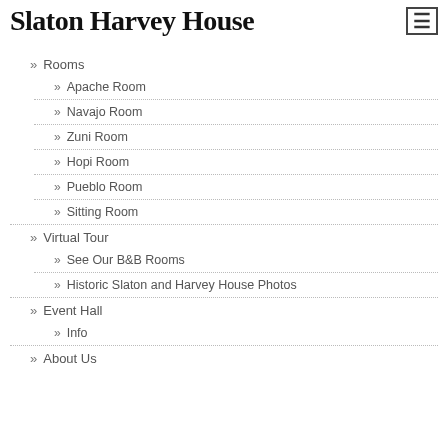Slaton Harvey House
Rooms
Apache Room
Navajo Room
Zuni Room
Hopi Room
Pueblo Room
Sitting Room
Virtual Tour
See Our B&B Rooms
Historic Slaton and Harvey House Photos
Event Hall
Info
About Us